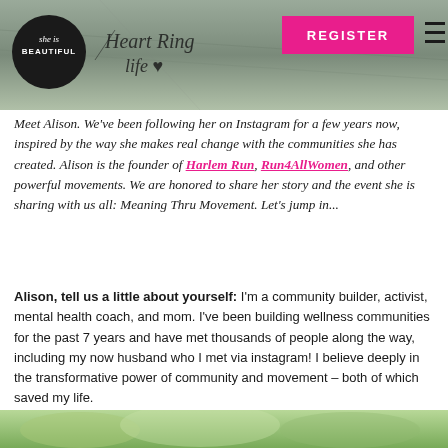[Figure (photo): Header photo showing a person's hand/feet on pavement, with a 'She is Beautiful' logo circle, cursive 'Heart Ring Life' handwriting text, a pink REGISTER button, and a hamburger menu icon.]
Meet Alison. We've been following her on Instagram for a few years now, inspired by the way she makes real change with the communities she has created. Alison is the founder of Harlem Run, Run4AllWomen, and other powerful movements. We are honored to share her story and the event she is sharing with us all: Meaning Thru Movement. Let's jump in...
Alison, tell us a little about yourself: I'm a community builder, activist, mental health coach, and mom. I've been building wellness communities for the past 7 years and have met thousands of people along the way, including my now husband who I met via instagram! I believe deeply in the transformative power of community and movement – both of which saved my life.
[Figure (photo): Bottom strip of a green outdoor/nature photo]